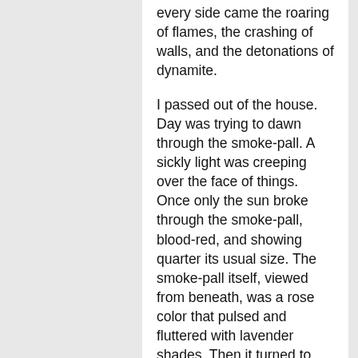every side came the roaring of flames, the crashing of walls, and the detonations of dynamite.
I passed out of the house. Day was trying to dawn through the smoke-pall. A sickly light was creeping over the face of things. Once only the sun broke through the smoke-pall, blood-red, and showing quarter its usual size. The smoke-pall itself, viewed from beneath, was a rose color that pulsed and fluttered with lavender shades. Then it turned to mauve and yellow and dun. There was no sun. And so dawned the second day on stricken San Francisco.
An hour later I was creeping past the shattered dome of the City Hall. Than it there was no better exhibit of the destructive force of the earthquake